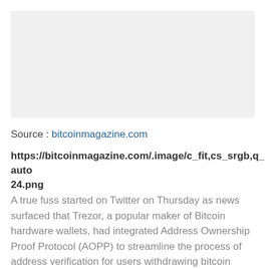[Figure (photo): Gray placeholder image area at top of page]
Source : bitcoinmagazine.com
https://bitcoinmagazine.com/.image/c_fit,cs_srgb,q_auto 24.png
A true fuss started on Twitter on Thursday as news surfaced that Trezor, a popular maker of Bitcoin hardware wallets, had integrated Address Ownership Proof Protocol (AOPP) to streamline the process of address verification for users withdrawing bitcoin